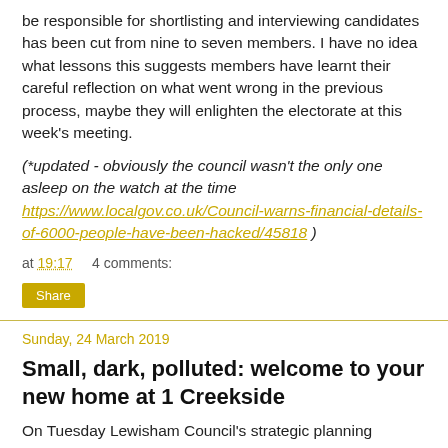be responsible for shortlisting and interviewing candidates has been cut from nine to seven members. I have no idea what lessons this suggests members have learnt their careful reflection on what went wrong in the previous process, maybe they will enlighten the electorate at this week's meeting.
(*updated - obviously the council wasn't the only one asleep on the watch at the time https://www.localgov.co.uk/Council-warns-financial-details-of-6000-people-have-been-hacked/45818 )
at 19:17    4 comments:
Share
Sunday, 24 March 2019
Small, dark, polluted: welcome to your new home at 1 Creekside
On Tuesday Lewisham Council's strategic planning...